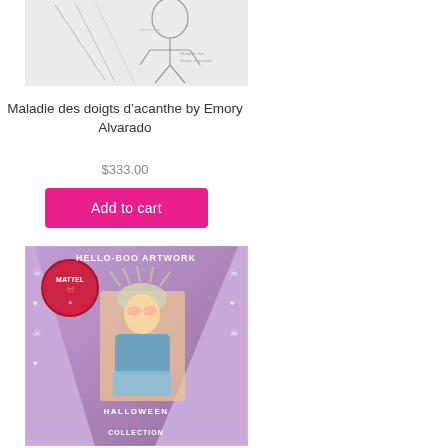[Figure (illustration): A pencil sketch illustration showing a figure, partially cropped at top]
Maladie des doigts d’acanthe by Emory Alvarado
$333.00
Add to cart
[Figure (photo): A triangular pennant-shaped item with purple/pink Monster High Halloween Collection branding, featuring an illustrated character with wild hair, Mattel logo badge, skulls and hearts decoration, and text reading HALLOWEEN COLLECTION]